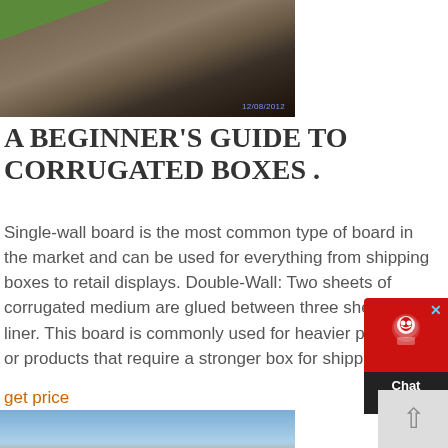[Figure (photo): Construction or industrial site with metal sheets and machinery, dated 12/08/2012]
A BEGINNER'S GUIDE TO CORRUGATED BOXES .
Single-wall board is the most common type of board in the market and can be used for everything from shipping boxes to retail displays. Double-Wall: Two sheets of corrugated medium are glued between three sheets of liner. This board is commonly used for heavier products, or products that require a stronger box for shipping.
get price
[Figure (photo): Construction machinery or conveyor on a hillside with vegetation and orange soil]
[Figure (other): Chat Now customer support widget with red background and headset icon]
[Figure (other): Back to top button with upward arrow]